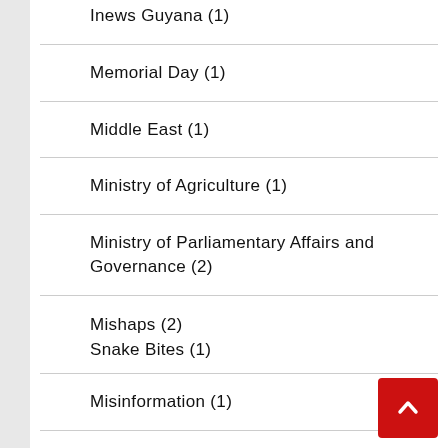Inews Guyana (1)
Memorial Day (1)
Middle East (1)
Ministry of Agriculture (1)
Ministry of Parliamentary Affairs and Governance (2)
Mishaps (2)
Snake Bites (1)
Misinformation (1)
Missing Persons (4)